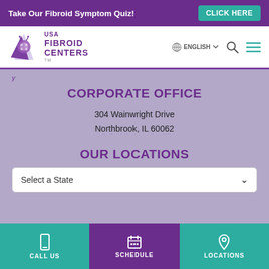Take Our Fibroid Symptom Quiz! CLICK HERE
[Figure (logo): USA Fibroid Centers logo with ladybug icon and purple checkmark]
CORPORATE OFFICE
304 Wainwright Drive
Northbrook, IL 60062
OUR LOCATIONS
Select a State
CALL US   SCHEDULE   LOCATIONS